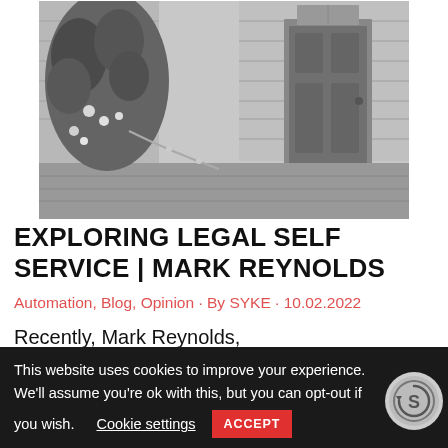[Figure (photo): Black and white photograph of a house entrance with a grey door and floral plants on the left side of the porch/deck]
EXPLORING LEGAL SELF SERVICE | MARK REYNOLDS
Automation, Blog, Opinion · By SYKE · 10.02.2022
Recently, Mark Reynolds,
This website uses cookies to improve your experience. We'll assume you're ok with this, but you can opt-out if you wish.  Cookie settings  ACCEPT